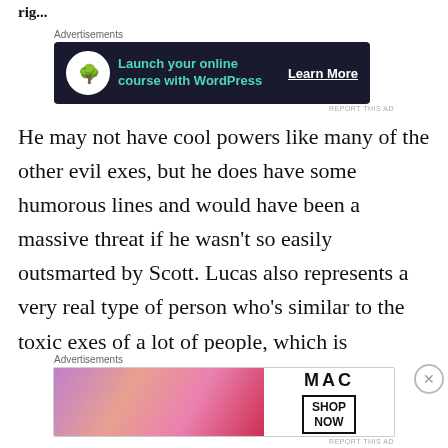rig...
[Figure (screenshot): Advertisement banner: dark navy background with bonsai tree icon, teal text 'Launch your online course with WordPress', white 'Learn More' button]
He may not have cool powers like many of the other evil exes, but he does have some humorous lines and would have been a massive threat if he wasn't so easily outsmarted by Scott. Lucas also represents a very real type of person who's similar to the toxic exes of a lot of people, which is (obviously) the point.
[Figure (screenshot): MAC cosmetics advertisement banner with lipsticks image on left and 'SHOP NOW' button on right]